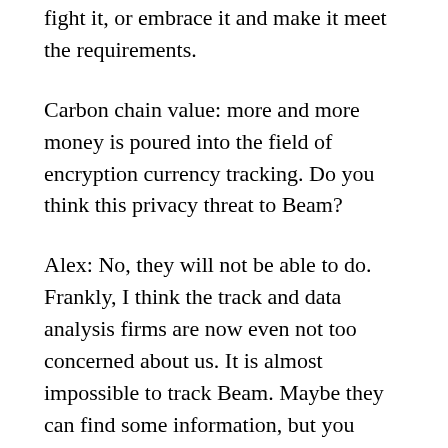fight it, or embrace it and make it meet the requirements.
Carbon chain value: more and more money is poured into the field of encryption currency tracking. Do you think this privacy threat to Beam?
Alex: No, they will not be able to do. Frankly, I think the track and data analysis firms are now even not too concerned about us. It is almost impossible to track Beam. Maybe they can find some information, but you know, beam and bitcoin is completely different.
In the bitcoin world, everything is put in there,